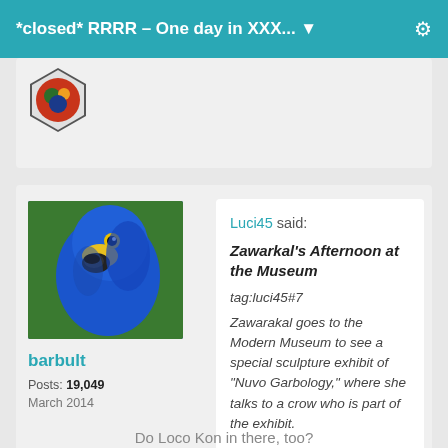*closed* RRRR – One day in XXX... ▼
[Figure (photo): Partially visible post card with a hexagonal avatar icon at top]
[Figure (photo): Blue hyacinth macaw parrot close-up photo used as user avatar for barbult]
barbult
Posts: 19,049
March 2014
Luci45 said:
Zawarkal's Afternoon at the Museum
tag:luci45#7
Zawarakal goes to the Modern Museum to see a special sculpture exhibit of "Nuvo Garbology," where she talks to a crow who is part of the exhibit.
Do Loco Kon in there, too?